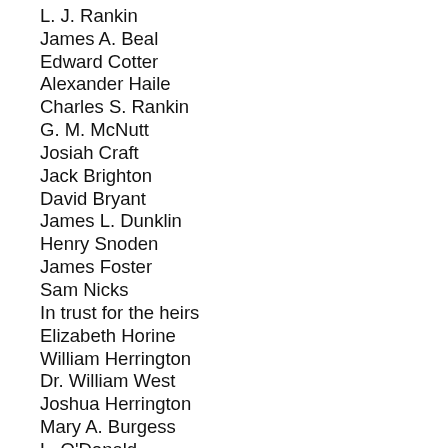T. R. Bruce
L. J. Rankin
James A. Beal
Edward Cotter
Alexander Haile
Charles S. Rankin
G. M. McNutt
Josiah Craft
Jack Brighton
David Bryant
James L. Dunklin
Henry Snoden
James Foster
Sam Nicks
In trust for the heirs
Elizabeth Horine
William Herrington
Dr. William West
Joshua Herrington
Mary A. Burgess
L. O'Donald
Samuel G. Swan
Charles G. Warne
John S. Deadrick
Robert Gamel
A. Lee